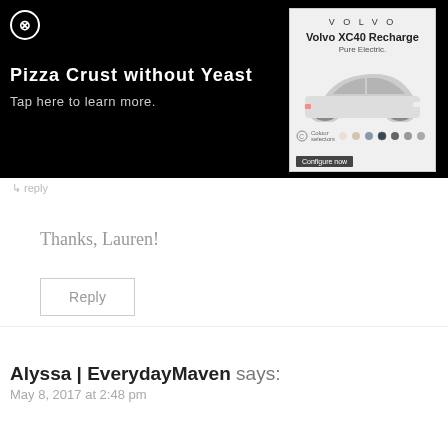[Figure (screenshot): Black ad banner overlay with close (X) button, text 'Pizza Crust without Yeast' and 'Tap here to learn more.' on left, and a Volvo XC40 Recharge Pure Electric advertisement image on the right showing the car with color swatches and a call-to-action button.]
Thanks, Lauren!
Reply
Alyssa | EverydayMaven says:
May 8, 2017 at 2:48 pm